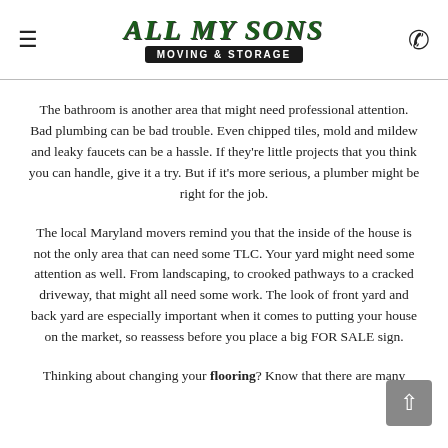All My Sons Moving & Storage
The bathroom is another area that might need professional attention. Bad plumbing can be bad trouble. Even chipped tiles, mold and mildew and leaky faucets can be a hassle. If they're little projects that you think you can handle, give it a try. But if it's more serious, a plumber might be right for the job.
The local Maryland movers remind you that the inside of the house is not the only area that can need some TLC. Your yard might need some attention as well. From landscaping, to crooked pathways to a cracked driveway, that might all need some work. The look of front yard and back yard are especially important when it comes to putting your house on the market, so reassess before you place a big FOR SALE sign.
Thinking about changing your flooring? Know that there are many